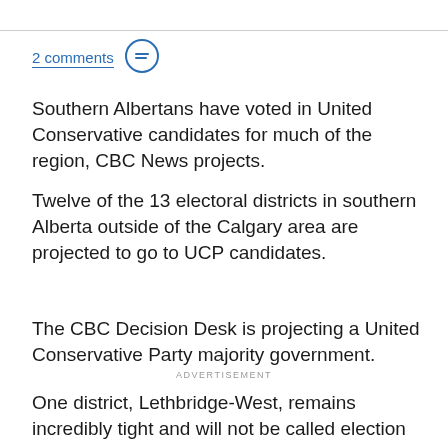2 comments
Southern Albertans have voted in United Conservative candidates for much of the region, CBC News projects.
Twelve of the 13 electoral districts in southern Alberta outside of the Calgary area are projected to go to UCP candidates.
The CBC Decision Desk is projecting a United Conservative Party majority government.
ADVERTISEMENT
One district, Lethbridge-West, remains incredibly tight and will not be called election night. By 11:50 p.m.